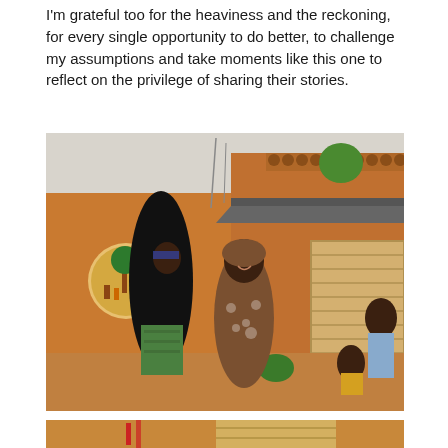I'm grateful too for the heaviness and the reckoning, for every single opportunity to do better, to challenge my assumptions and take moments like this one to reflect on the privilege of sharing their stories.
[Figure (photo): Two women standing outdoors in front of terracotta-colored mud brick building with decorative pattern along the top. The woman on the left wears a black hijab and green patterned skirt. The woman in the center wears a brown floral print dress and headscarf and is smiling. A young child and an older child are visible on the right side. A circular mural is visible on the left wall.]
[Figure (photo): Partial view of another photograph at the bottom of the page, showing what appears to be an interior or exterior scene with warm tones.]